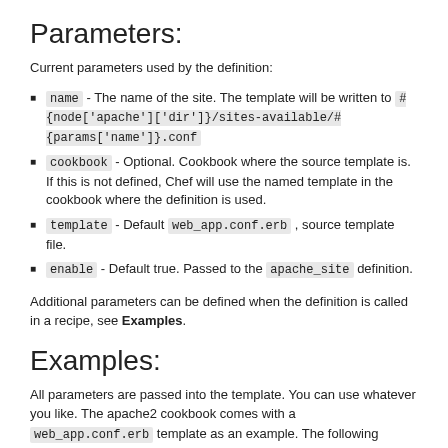Parameters:
Current parameters used by the definition:
name - The name of the site. The template will be written to #{node['apache']['dir']}/sites-available/#{params['name']}.conf
cookbook - Optional. Cookbook where the source template is. If this is not defined, Chef will use the named template in the cookbook where the definition is used.
template - Default web_app.conf.erb, source template file.
enable - Default true. Passed to the apache_site definition.
Additional parameters can be defined when the definition is called in a recipe, see Examples.
Examples:
All parameters are passed into the template. You can use whatever you like. The apache2 cookbook comes with a web_app.conf.erb template as an example. The following parameters are used in the template: